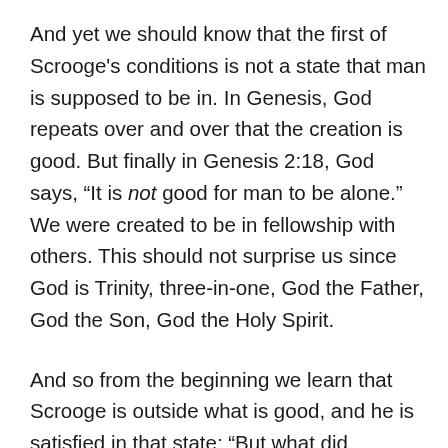And yet we should know that the first of Scrooge’s conditions is not a state that man is supposed to be in. In Genesis, God repeats over and over that the creation is good. But finally in Genesis 2:18, God says, “It is not good for man to be alone.” We were created to be in fellowship with others. This should not surprise us since God is Trinity, three-in-one, God the Father, God the Son, God the Holy Spirit.
And so from the beginning we learn that Scrooge is outside what is good, and he is satisfied in that state: “But what did Scrooge care!”
But into Scrooge’s and our aloneness, God did